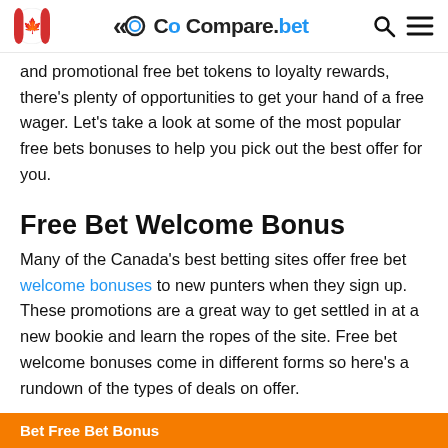Compare.bet
and promotional free bet tokens to loyalty rewards, there's plenty of opportunities to get your hand of a free wager. Let's take a look at some of the most popular free bets bonuses to help you pick out the best offer for you.
Free Bet Welcome Bonus
Many of the Canada's best betting sites offer free bet welcome bonuses to new punters when they sign up. These promotions are a great way to get settled in at a new bookie and learn the ropes of the site. Free bet welcome bonuses come in different forms so here's a rundown of the types of deals on offer.
Bet Free Bet Bonus